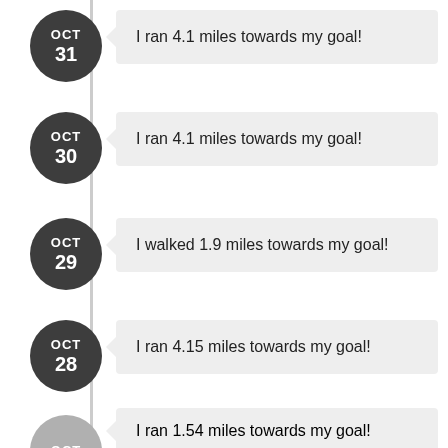OCT 31 — I ran 4.1 miles towards my goal!
OCT 30 — I ran 4.1 miles towards my goal!
OCT 29 — I walked 1.9 miles towards my goal!
OCT 28 — I ran 4.15 miles towards my goal!
I ran 1.54 miles towards my goal!
OCT (partial)